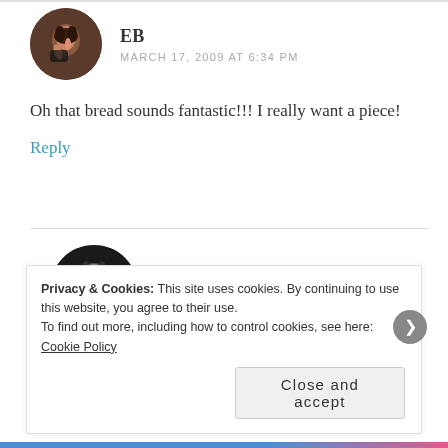EB
MARCH 17, 2009 AT 6:34 PM
Oh that bread sounds fantastic!!! I really want a piece!
Reply
Jessamyn
MARCH 18, 2009 AT 8:00 AM
Privacy & Cookies: This site uses cookies. By continuing to use this website, you agree to their use.
To find out more, including how to control cookies, see here: Cookie Policy
Close and accept